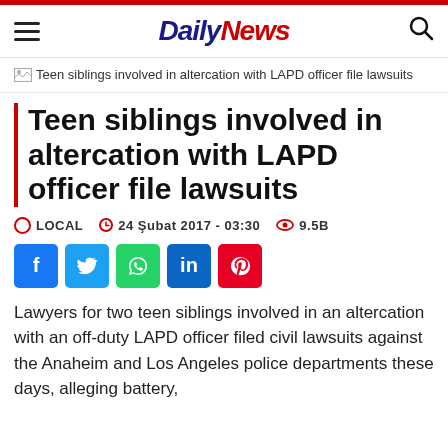Daily News
[Figure (photo): Broken image placeholder with alt text: Teen siblings involved in altercation with LAPD officer file lawsuits]
Teen siblings involved in altercation with LAPD officer file lawsuits
LOCAL  24 Şubat 2017 - 03:30  9.5B
Lawyers for two teen siblings involved in an altercation with an off-duty LAPD officer filed civil lawsuits against the Anaheim and Los Angeles police departments these days, alleging battery,